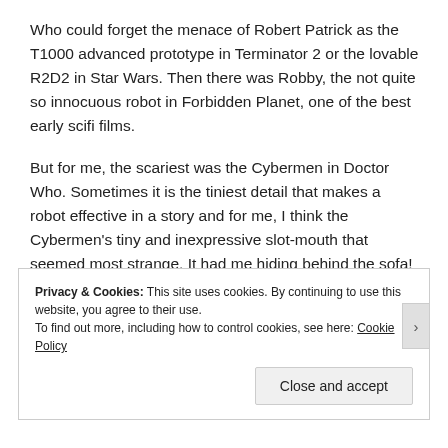Who could forget the menace of Robert Patrick as the T1000 advanced prototype in Terminator 2 or the lovable R2D2 in Star Wars. Then there was Robby, the not quite so innocuous robot in Forbidden Planet, one of the best early scifi films.
But for me, the scariest was the Cybermen in Doctor Who. Sometimes it is the tiniest detail that makes a robot effective in a story and for me, I think the Cybermen's tiny and inexpressive slot-mouth that seemed most strange. It had me hiding behind the sofa!
Privacy & Cookies: This site uses cookies. By continuing to use this website, you agree to their use.
To find out more, including how to control cookies, see here: Cookie Policy